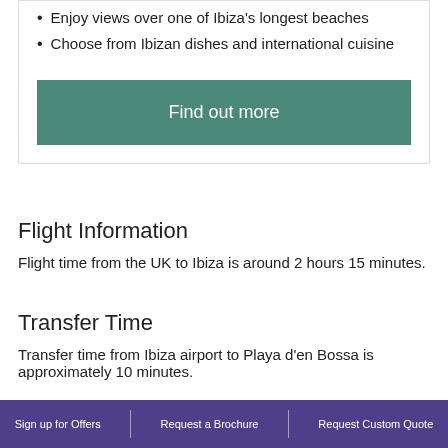Enjoy views over one of Ibiza's longest beaches
Choose from Ibizan dishes and international cuisine
Find out more
Flight Information
Flight time from the UK to Ibiza is around 2 hours 15 minutes.
Transfer Time
Transfer time from Ibiza airport to Playa d'en Bossa is approximately 10 minutes.
Sign up for Offers   Request a Brochure   Request Custom Quote